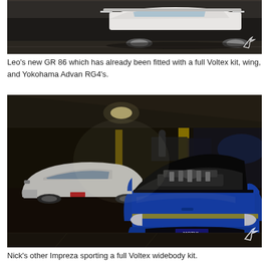[Figure (photo): Leo's GR 86 in a parking garage at night, fitted with a full Voltex kit, wing, and Yokohama Advan RG4 wheels. The car is white, photographed from above/behind at an angle. A watermark logo (bird/t shape) is in the bottom right.]
Leo's new GR 86 which has already been fitted with a full Voltex kit, wing, and Yokohama Advan RG4's.
[Figure (photo): Nick's blue Subaru Impreza with hood open in a parking garage. It sports a full Voltex widebody kit and has an MOTUL sticker on the front. A white GR 86 is parked behind it to the left. Various other cars visible in the dimly lit garage. Watermark logo in bottom right.]
Nick's other Impreza sporting a full Voltex widebody kit.